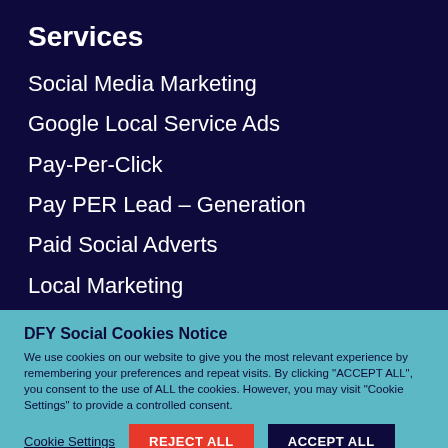Services
Social Media Marketing
Google Local Service Ads
Pay-Per-Click
Pay PER Lead – Generation
Paid Social Adverts
Local Marketing
DFY Social Cookies Notice
We use cookies on our website to give you the most relevant experience by remembering your preferences and repeat visits. By clicking "ACCEPT ALL", you consent to the use of ALL the cookies. However, you may visit "Cookie Settings" to provide a controlled consent.
Cookie Settings | REJECT ALL | ACCEPT ALL